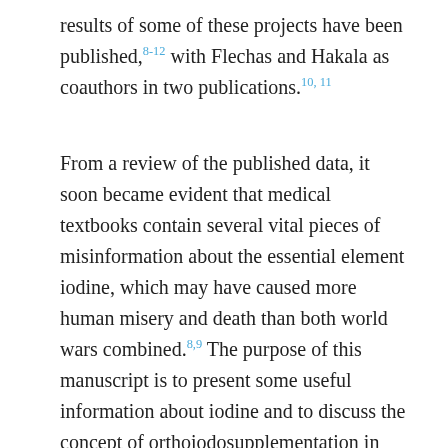results of some of these projects have been published,8-12 with Flechas and Hakala as coauthors in two publications.10, 11
From a review of the published data, it soon became evident that medical textbooks contain several vital pieces of misinformation about the essential element iodine, which may have caused more human misery and death than both world wars combined.8,9 The purpose of this manuscript is to present some useful information about iodine and to discuss the concept of orthoiodosupplementation in more detail than in previous publications.9,11 This manuscript was written in response to a request from the eclectic and altruistic physician, a recent collaborator on the iodine project, David